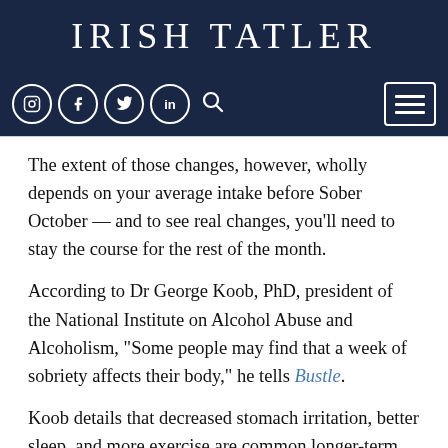IRISH TATLER
The extent of those changes, however, wholly depends on your average intake before Sober October — and to see real changes, you'll need to stay the course for the rest of the month.
According to Dr George Koob, PhD, president of the National Institute on Alcohol Abuse and Alcoholism, "Some people may find that a week of sobriety affects their body," he tells Bustle.
Koob details that decreased stomach irritation, better sleep, and more exercise are common longer-term reactions to sobriety and that some people may experience them more quickly than others.
Sleep quality can also show a particularly marked